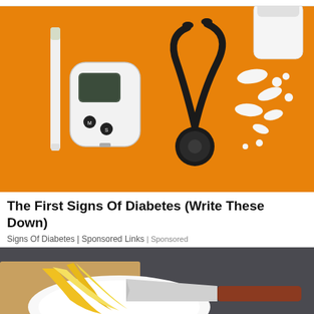[Figure (photo): Photo of a blood glucose meter, stethoscope, lancet pen, white pills, and a medication bottle on an orange background]
The First Signs Of Diabetes (Write These Down)
Signs Of Diabetes | Sponsored Links | Sponsored
[Figure (photo): Photo of a peeled banana on a white plate with a knife on a dark surface]